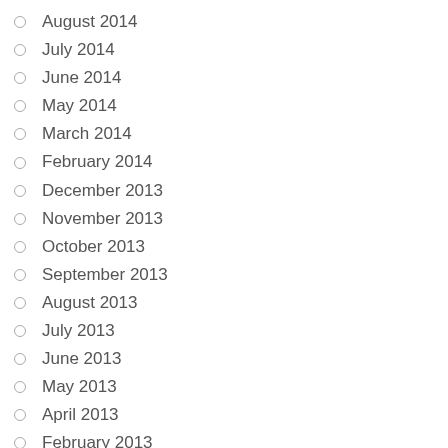August 2014
July 2014
June 2014
May 2014
March 2014
February 2014
December 2013
November 2013
October 2013
September 2013
August 2013
July 2013
June 2013
May 2013
April 2013
February 2013
January 2013
November 2012